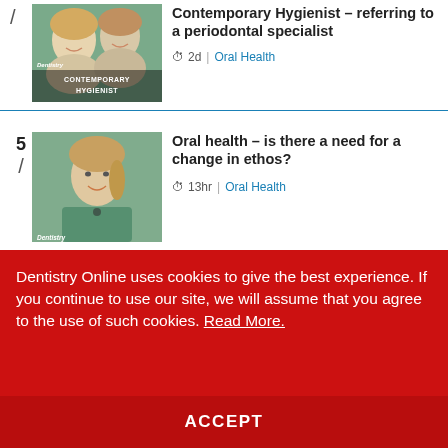[Figure (photo): Two smiling women, text overlay reads CONTEMPORARY HYGIENIST, labeled Dentistry]
Contemporary Hygienist – referring to a periodontal specialist
2d | Oral Health
[Figure (photo): Young woman in green medical scrubs smiling, labeled Dentistry]
Oral health – is there a need for a change in ethos?
13hr | Oral Health
Dentistry Online uses cookies to give the best experience. If you continue to use our site, we will assume that you agree to the use of such cookies. Read More.
ACCEPT